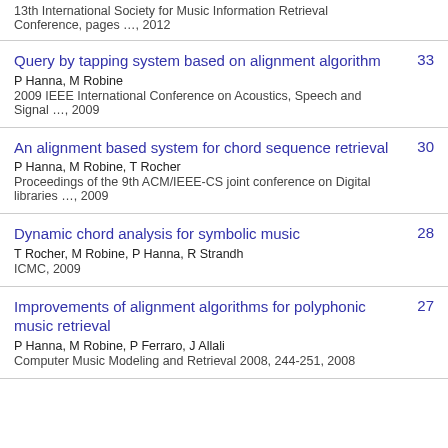13th International Society for Music Information Retrieval Conference, pages …, 2012
Query by tapping system based on alignment algorithm
P Hanna, M Robine
2009 IEEE International Conference on Acoustics, Speech and Signal …, 2009
33
An alignment based system for chord sequence retrieval
P Hanna, M Robine, T Rocher
Proceedings of the 9th ACM/IEEE-CS joint conference on Digital libraries …, 2009
30
Dynamic chord analysis for symbolic music
T Rocher, M Robine, P Hanna, R Strandh
ICMC, 2009
28
Improvements of alignment algorithms for polyphonic music retrieval
P Hanna, M Robine, P Ferraro, J Allali
Computer Music Modeling and Retrieval 2008, 244-251, 2008
27